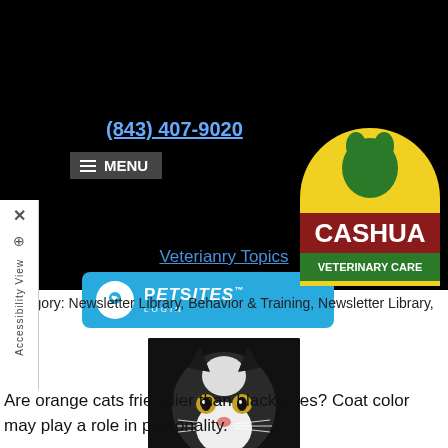(843) 407-9020
MENU
[Figure (logo): PetSites Login button - blue rounded rectangle with white circle icon and PetSites LOGIN text]
[Figure (logo): Cashua Veterinary Care logo - yellow semicircle with green cat silhouette, red and green banner text]
Veterianry Topics
Category: Newsletter Library, Behavior & Training, Newsletter Library, Cats
[Figure (photo): Black and white cat face looking at camera against dark background]
Are orange cats friendlier than black ones? Coat color may play a role in personality.